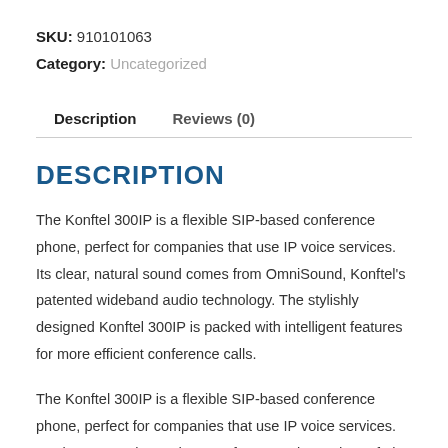SKU: 910101063
Category: Uncategorized
Description    Reviews (0)
DESCRIPTION
The Konftel 300IP is a flexible SIP-based conference phone, perfect for companies that use IP voice services. Its clear, natural sound comes from OmniSound, Konftel's patented wideband audio technology. The stylishly designed Konftel 300IP is packed with intelligent features for more efficient conference calls.
The Konftel 300IP is a flexible SIP-based conference phone, perfect for companies that use IP voice services. Its clear, natural sound comes from OmniSound, Konftel's patented wideband audio technology. The stylishly designed Konftel 300IP is packed with intelligent features for more efficient conference calls.